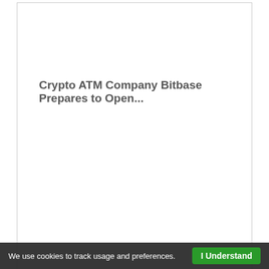Crypto ATM Company Bitbase Prepares to Open...
Russian Crypto Scammers Go Offline, Open...
| 🔴Free Membership🔴 | The EPIK Summit | CM Magic Pool |
| --- | --- | --- |
| 🔴Free Tron On Signup🔴 | Legendary marketers like | Together We Are Stronger |
| 🔴2x10 Company Matrix🔴 | Dan Lok, Rich Schefren | Leverage Team Pool Funds |
| 🔴100% Commissions🔴 | 🔴Get Busy Living!🔴♀ | Join US Today! |
| Click Here Now | Click Here Now | Click Here Now |
We use cookies to track usage and preferences.
I Understand